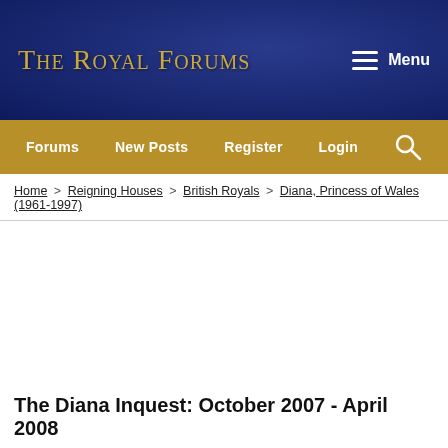The Royal Forums
Forums | New Posts | Register | Login
Home > Reigning Houses > British Royals > Diana, Princess of Wales (1961-1997)
The Diana Inquest: October 2007 - April 2008